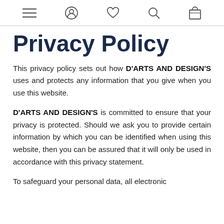[navigation icons: menu, account, wishlist, search, cart]
Privacy Policy
This privacy policy sets out how D'ARTS AND DESIGN'S uses and protects any information that you give when you use this website.
D'ARTS AND DESIGN'S is committed to ensure that your privacy is protected. Should we ask you to provide certain information by which you can be identified when using this website, then you can be assured that it will only be used in accordance with this privacy statement.
To safeguard your personal data, all electronic